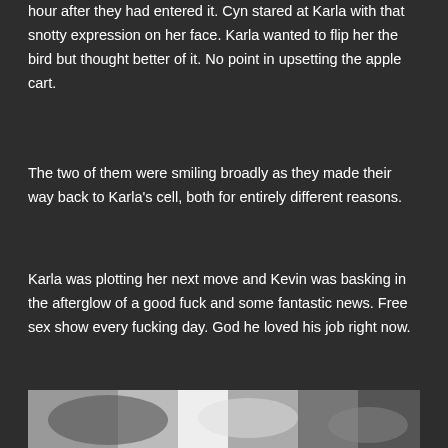hour after they had entered it. Cyn stared at Karla with that snotty expression on her face. Karla wanted to flip her the bird but thought better of it. No point in upsetting the apple cart.
The two of them were smiling broadly as they made their way back to Karla's cell, both for entirely different reasons.
Karla was plotting her next move and Kevin was basking in the afterglow of a good fuck and some fantastic news. Free sex show every fucking day. God he loved his job right now.
[Figure (photo): Black and white photograph of intertwined human limbs/bodies, partially visible at bottom of page]